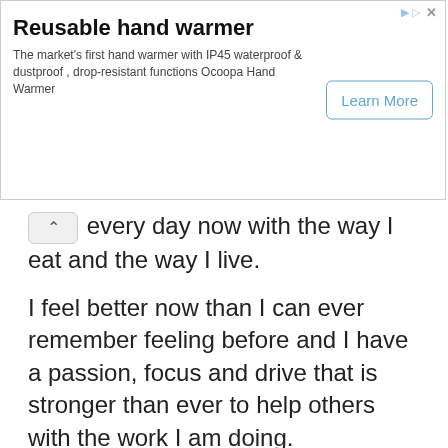[Figure (screenshot): Advertisement banner for 'Reusable hand warmer' product by Ocoopa with a 'Learn More' button, close and navigation icons in top right.]
every day now with the way I eat and the way I live.
I feel better now than I can ever remember feeling before and I have a passion, focus and drive that is stronger than ever to help others with the work I am doing.
I am totally passionate about helping people with their IBD and getting the message out there as to how important the food we eat and the way we live is to our quality of life living with IBD.